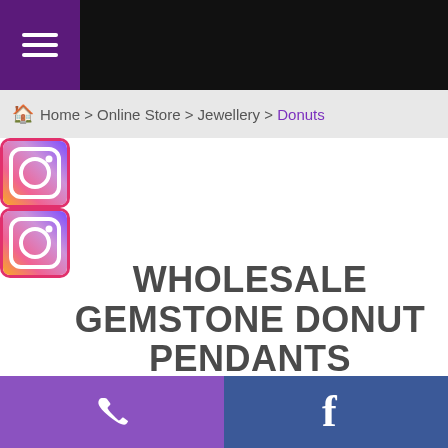Navigation bar with hamburger menu
Home > Online Store > Jewellery > Donuts
[Figure (logo): Instagram icon 1 with gradient border]
[Figure (logo): Instagram icon 2 with gradient border]
WHOLESALE GEMSTONE DONUT PENDANTS
View our range of wholesale genuine gemstone and crystal donut pendants. Each stone is carved into a round donut shape with a hole for hanging from a chain or cord. To view our wholesale pricing, please create an account and log in.
Phone and Facebook footer bar